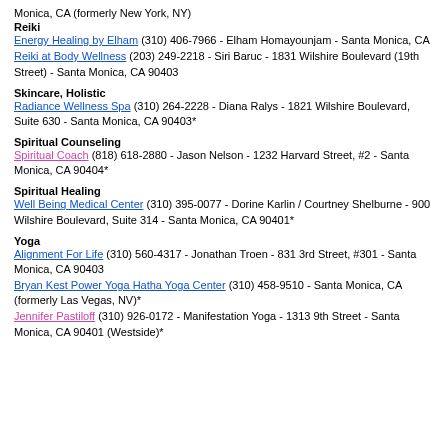Monica, CA (formerly New York, NY)
Reiki
Energy Healing by Elham (310) 406-7966 - Elham Homayounjam - Santa Monica, CA
Reiki at Body Wellness (203) 249-2218 - Siri Baruc - 1831 Wilshire Boulevard (19th Street) - Santa Monica, CA 90403
Skincare, Holistic
Radiance Wellness Spa (310) 264-2228 - Diana Ralys - 1821 Wilshire Boulevard, Suite 630 - Santa Monica, CA 90403*
Spiritual Counseling
Spiritual Coach (818) 618-2880 - Jason Nelson - 1232 Harvard Street, #2 - Santa Monica, CA 90404*
Spiritual Healing
Well Being Medical Center (310) 395-0077 - Dorine Karlin / Courtney Shelburne - 900 Wilshire Boulevard, Suite 314 - Santa Monica, CA 90401*
Yoga
Alignment For Life (310) 560-4317 - Jonathan Troen - 831 3rd Street, #301 - Santa Monica, CA 90403
Bryan Kest Power Yoga Hatha Yoga Center (310) 458-9510 - Santa Monica, CA (formerly Las Vegas, NV)*
Jennifer Pastiloff (310) 926-0172 - Manifestation Yoga - 1313 9th Street - Santa Monica, CA 90401 (Westside)*